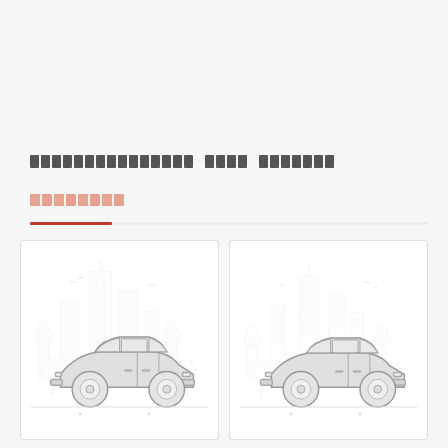ประกันภัยรถยนต์ ภาค ทะเบียน
ประเภทรถ
[Figure (illustration): Two illustrated car icons with city skyline backgrounds, representing vehicle insurance types. Left card shows a sedan car in gray outline style with buildings and trees in background. Right card shows another sedan variant similarly styled.]